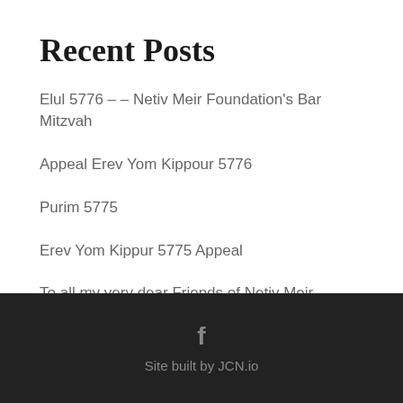Recent Posts
Elul 5776 – – Netiv Meir Foundation's Bar Mitzvah
Appeal Erev Yom Kippour 5776
Purim 5775
Erev Yom Kippur 5775 Appeal
To all my very dear Friends of Netiv Meir Foundation!
Site built by JCN.io